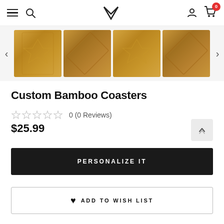Navigation bar with hamburger menu, search icon, logo, user icon, cart (0 items)
[Figure (photo): Image strip showing four bamboo coasters with engraved diamond/star patterns, with left and right navigation arrows]
Custom Bamboo Coasters
0 (0 Reviews)
$25.99
PERSONALIZE IT
ADD TO WISH LIST